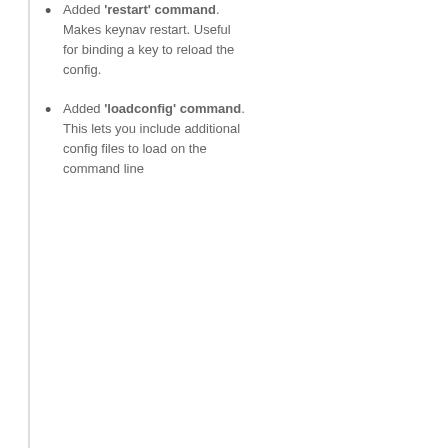Added 'restart' command. Makes keynav restart. Useful for binding a key to reload the config.
Added 'loadconfig' command. This lets you include additional config files to load on the command line